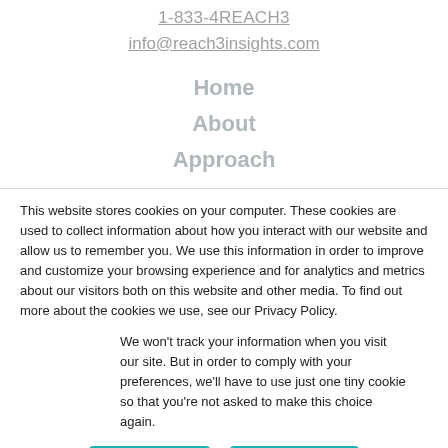1-833-4REACH3
info@reach3insights.com
Home
About
Approach
This website stores cookies on your computer. These cookies are used to collect information about how you interact with our website and allow us to remember you. We use this information in order to improve and customize your browsing experience and for analytics and metrics about our visitors both on this website and other media. To find out more about the cookies we use, see our Privacy Policy.
We won't track your information when you visit our site. But in order to comply with your preferences, we'll have to use just one tiny cookie so that you're not asked to make this choice again.